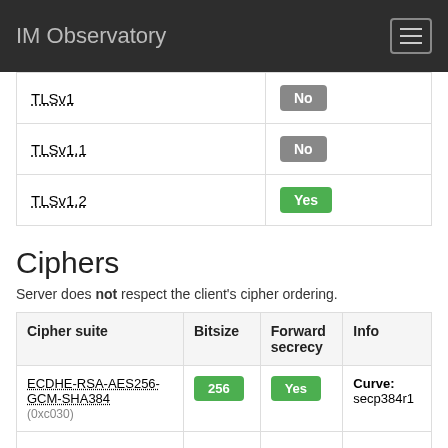IM Observatory
|  |  |
| --- | --- |
| TLSv1 | No |
| TLSv1.1 | No |
| TLSv1.2 | Yes |
Ciphers
Server does not respect the client's cipher ordering.
| Cipher suite | Bitsize | Forward secrecy | Info |
| --- | --- | --- | --- |
| ECDHE-RSA-AES256-GCM-SHA384 (0xc030) | 256 | Yes | Curve: secp384r1 |